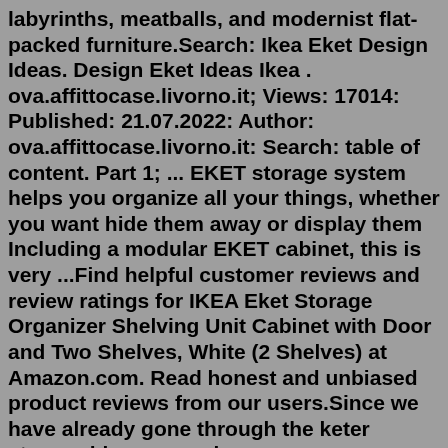labyrinths, meatballs, and modernist flat-packed furniture.Search: Ikea Eket Design Ideas. Design Eket Ideas Ikea . ova.affittocase.livorno.it; Views: 17014: Published: 21.07.2022: Author: ova.affittocase.livorno.it: Search: table of content. Part 1; ... EKET storage system helps you organize all your things, whether you want hide them away or display them Including a modular EKET cabinet, this is very ...Find helpful customer reviews and review ratings for IKEA Eket Storage Organizer Shelving Unit Cabinet with Door and Two Shelves, White (2 Shelves) at Amazon.com. Read honest and unbiased product reviews from our users.Since we have already gone through the keter storage bins research process, we understand this problem EKET 3 Keter Wood Effect Storage Box 4 x 2 x 2' (9342F) Product rating Keter Eastwood Plastic 150-gallon Storage Deck Box Keter Eastwood Plastic 150-gallon Storage Deck Box. ... 8 out of 5 stars based on 33 reviews The Patio Storage Bench is ...Avivit yarkoni-cohen. Modern